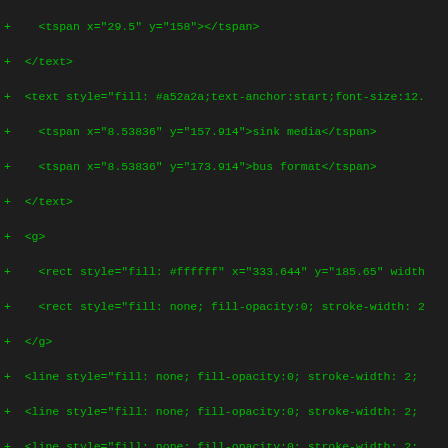Diff/code listing showing SVG XML additions with + markers, green monospace text on dark background